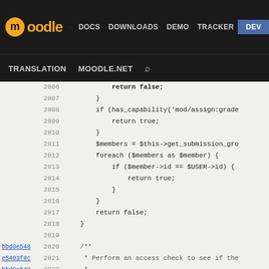moodle | DOCS | DOWNLOADS | DEMO | TRACKER | DEV | TRANSLATION | MOODLE.NET
[Figure (screenshot): Moodle developer site navigation bar with logo, nav links (DOCS, DOWNLOADS, DEMO, TRACKER, DEV highlighted in blue), and second row with TRANSLATION, MOODLE.NET, search icon]
Code viewer showing PHP source lines 2806-2832 with git blame annotations (commit hashes bbd0e548, e5403f8c, DW) and line numbers